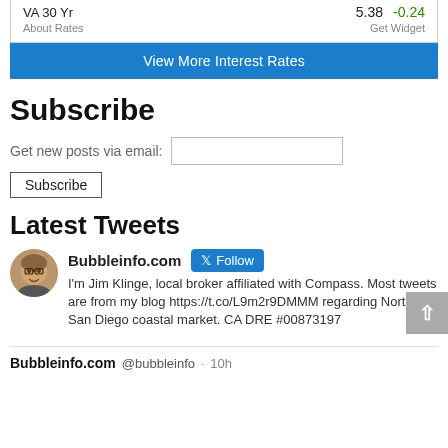|  |  |  |
| --- | --- | --- |
| VA 30 Yr | 5.38 | -0.24 |
| About Rates |  | Get Widget |
View More Interest Rates
Subscribe
Get new posts via email:
Subscribe
Latest Tweets
Bubbleinfo.com
I'm Jim Klinge, local broker affiliated with Compass. Most tweets are from my blog https://t.co/L9m2r9DMMM regarding North San Diego coastal market. CA DRE #00873197
Bubbleinfo.com @bubbleinfo · 10h